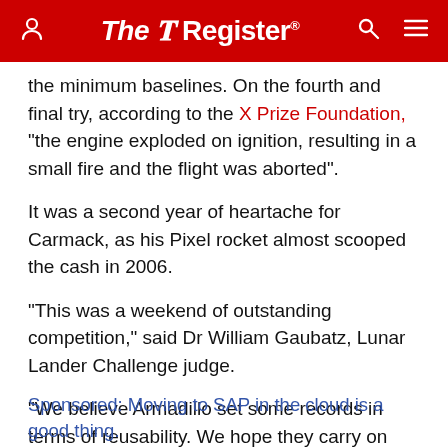The Register
the minimum baselines. On the fourth and final try, according to the X Prize Foundation, "the engine exploded on ignition, resulting in a small fire and the flight was aborted".
It was a second year of heartache for Carmack, as his Pixel rocket almost scooped the cash in 2006.
"This was a weekend of outstanding competition," said Dr William Gaubatz, Lunar Lander Challenge judge.
"We believe Armadillo set some records in terms of reusability. We hope they carry on and inspire other teams to shoot for the prize and new records." ®
Sponsored: Moving to SAP in the cloud is a good thing.